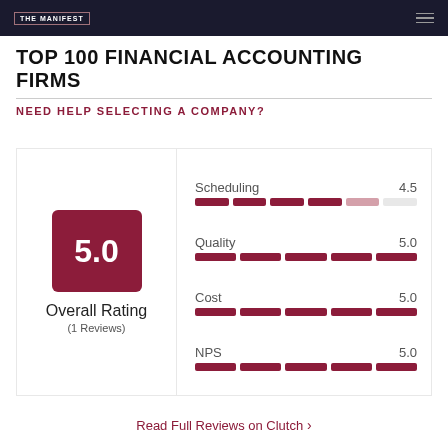THE MANIFEST
TOP 100 FINANCIAL ACCOUNTING FIRMS
NEED HELP SELECTING A COMPANY?
[Figure (infographic): Rating card showing Overall Rating of 5.0 based on 1 Review, with sub-ratings: Scheduling 4.5, Quality 5.0, Cost 5.0, NPS 5.0, displayed as segmented bar indicators]
Read Full Reviews on Clutch